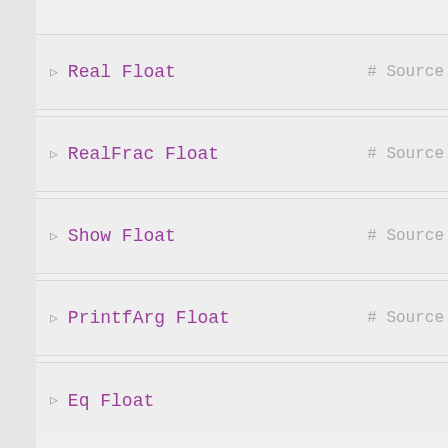Real Float  # Source
RealFrac Float  # Source
Show Float  # Source
PrintfArg Float  # Source
Eq Float